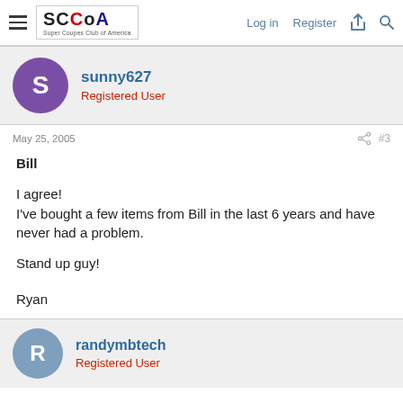SCCoA | Log in | Register
sunny627
Registered User
May 25, 2005
#3
Bill

I agree!
I've bought a few items from Bill in the last 6 years and have never had a problem.

Stand up guy!


Ryan
randymbtech
Registered User